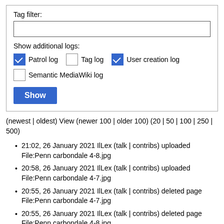Tag filter:
Show additional logs:
✓ Patrol log  ☐ Tag log  ✓ User creation log
☐ Semantic MediaWiki log
Show
(newest | oldest) View (newer 100 | older 100) (20 | 50 | 100 | 250 | 500)
21:02, 26 January 2021 IlLex (talk | contribs) uploaded File:Penn carbondale 4-8.jpg
20:58, 26 January 2021 IlLex (talk | contribs) uploaded File:Penn carbondale 4-7.jpg
20:55, 26 January 2021 IlLex (talk | contribs) deleted page File:Penn carbondale 4-7.jpg
20:55, 26 January 2021 IlLex (talk | contribs) deleted page File:Penn carbondale 4-8.jpg